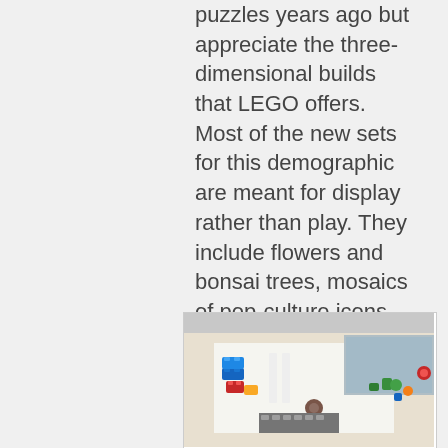puzzles years ago but appreciate the three-dimensional builds that LEGO offers. Most of the new sets for this demographic are meant for display rather than play. They include flowers and bonsai trees, mosaics of pop-culture icons, and models of musical instruments and classic video game players.
[Figure (photo): Overhead view of colorful LEGO bricks and models arranged on a white surface, showing various colored pieces including blue, red, yellow, green, and other colored LEGO elements in a partially assembled state.]